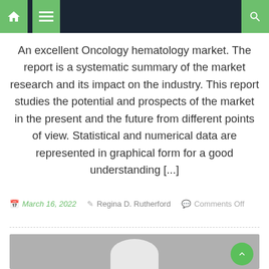Navigation bar with home, menu, and search icons
An excellent Oncology hematology market. The report is a systematic summary of the market research and its impact on the industry. This report studies the potential and prospects of the market in the present and the future from different points of view. Statistical and numerical data are represented in graphical form for a good understanding [...]
March 16, 2022   Regina D. Rutherford   Comments Off
[Figure (photo): Gray placeholder image with white oval/head silhouette shape, representing a user profile photo.]